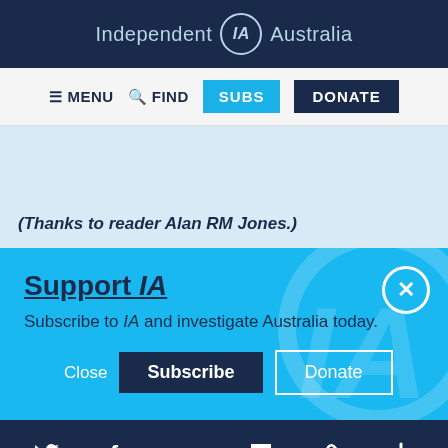Independent IA Australia
≡ MENU  🔍 FIND  SUBS  DONATE
(Thanks to reader Alan RM Jones.)
Support IA
Subscribe to IA and investigate Australia today.
Close  Subscribe  Donate
Twitter  Facebook  LinkedIn  Flipboard  Link  Plus